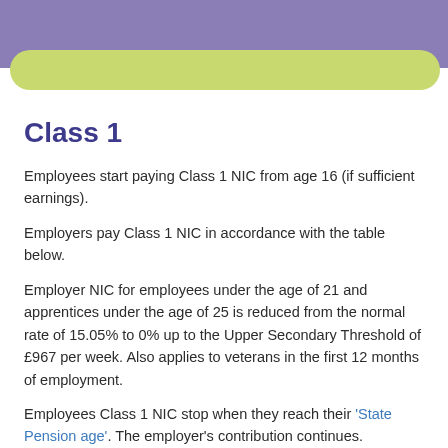Class 1
Employees start paying Class 1 NIC from age 16 (if sufficient earnings).
Employers pay Class 1 NIC in accordance with the table below.
Employer NIC for employees under the age of 21 and apprentices under the age of 25 is reduced from the normal rate of 15.05% to 0% up to the Upper Secondary Threshold of £967 per week. Also applies to veterans in the first 12 months of employment.
Employees Class 1 NIC stop when they reach their 'State Pension age'. The employer's contribution continues.